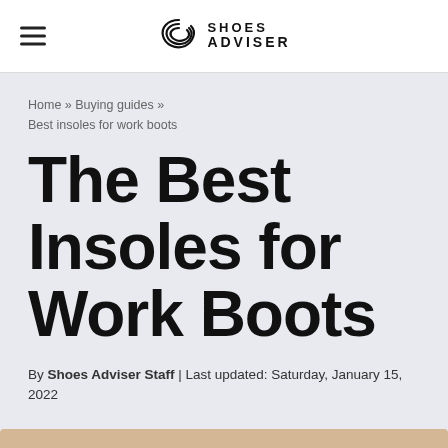SHOES ADVISER
Home » Buying guides » Best insoles for work boots
The Best Insoles for Work Boots
By Shoes Adviser Staff | Last updated: Saturday, January 15, 2022